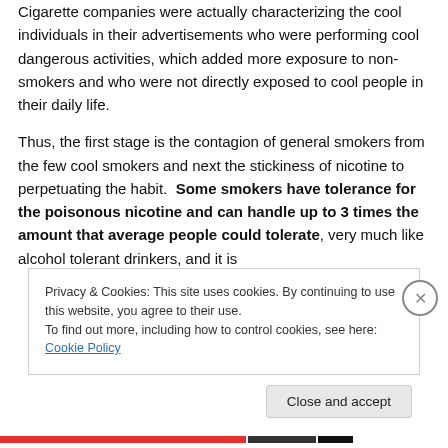Cigarette companies were actually characterizing the cool individuals in their advertisements who were performing cool dangerous activities, which added more exposure to non-smokers and who were not directly exposed to cool people in their daily life.
Thus, the first stage is the contagion of general smokers from the few cool smokers and next the stickiness of nicotine to perpetuating the habit. Some smokers have tolerance for the poisonous nicotine and can handle up to 3 times the amount that average people could tolerate, very much like alcohol tolerant drinkers, and it is
Privacy & Cookies: This site uses cookies. By continuing to use this website, you agree to their use.
To find out more, including how to control cookies, see here: Cookie Policy
Close and accept